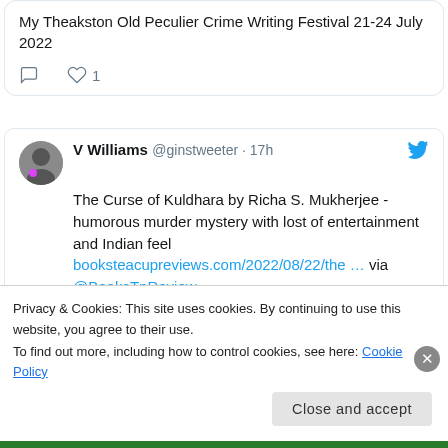My Theakston Old Peculier Crime Writing Festival 21-24 July 2022
1 like
V Williams @ginstweeter · 17h
The Curse of Kuldhara by Richa S. Mukherjee -humorous murder mystery with lost of entertainment and Indian feel booksteacupreviews.com/2022/08/22/the … via @BooksTnReview
Privacy & Cookies: This site uses cookies. By continuing to use this website, you agree to their use.
To find out more, including how to control cookies, see here: Cookie Policy
Close and accept